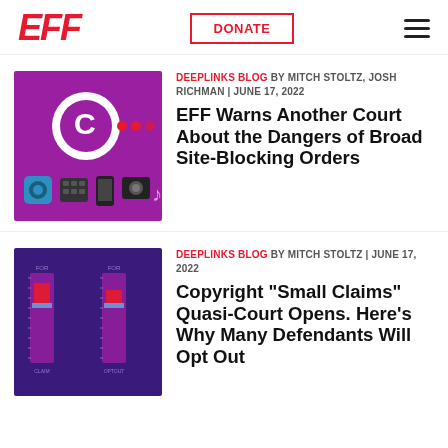EFF | DONATE | menu
[Figure (illustration): Purple background image with Crunchyroll/copyright related icons: large C logo with dots, music/media icons at bottom]
DEEPLINKS BLOG BY MITCH STOLTZ, JOSH RICHMAN | JUNE 17, 2022
EFF Warns Another Court About the Dangers of Broad Site-Blocking Orders
[Figure (illustration): Purple/dark purple background with two bar graph illustrations in red/blue tones resembling CASE Act thermometer graphics]
DEEPLINKS BLOG BY MITCH STOLTZ | JUNE 17, 2022
Copyright "Small Claims" Quasi-Court Opens. Here's Why Many Defendants Will Opt Out